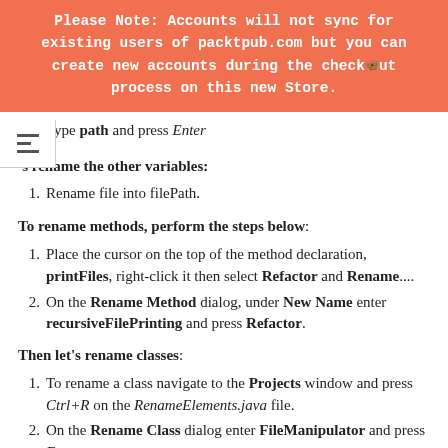Please Note: Accounts will not sync for existing users of packtpub.com but you can create new accounts during the checkout process on this new Store.
2. Type path and press Enter
's rename the other variables:
1. Rename file into filePath.
To rename methods, perform the steps below:
1. Place the cursor on the top of the method declaration, printFiles, right-click it then select Refactor and Rename....
2. On the Rename Method dialog, under New Name enter recursiveFilePrinting and press Refactor.
Then let’s rename classes:
1. To rename a class navigate to the Projects window and press Ctrl+R on the RenameElements.java file.
2. On the Rename Class dialog enter FileManipulator and press Enter.